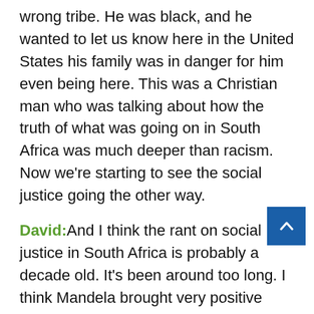wrong tribe. He was black, and he wanted to let us know here in the United States his family was in danger for him even being here. This was a Christian man who was talking about how the truth of what was going on in South Africa was much deeper than racism. Now we're starting to see the social justice going the other way.
David: And I think the rant on social justice in South Africa is probably a decade old. It's been around too long. I think Mandela brought very positive change. He brought an end to real race disparity. But post Mandela, you have South Africa which has devolved into that tribalist reverse racism. Visit there if you want to experience it firsthand, but conversation with the Indian community. They lament being the wrong color because they're not dark enough. You talk to Zulus and they lament not being from the tribe